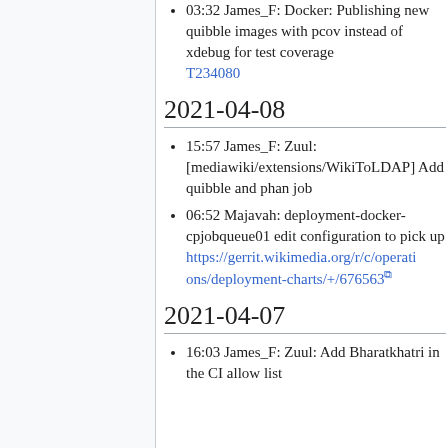03:32 James_F: Docker: Publishing new quibble images with pcov instead of xdebug for test coverage T234080
2021-04-08
15:57 James_F: Zuul: [mediawiki/extensions/WikiToLDAP] Add quibble and phan job
06:52 Majavah: deployment-docker-cpjobqueue01 edit configuration to pick up https://gerrit.wikimedia.org/r/c/operations/deployment-charts/+/676563
2021-04-07
16:03 James_F: Zuul: Add Bharatkhatri in the CI allow list